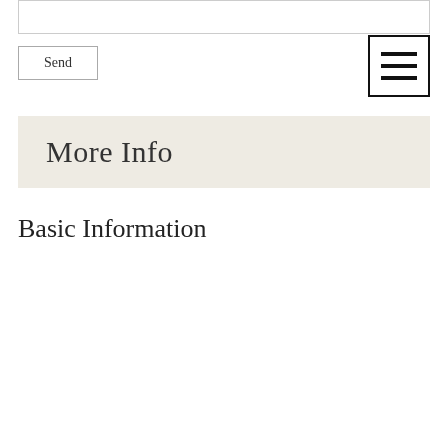Send
More Info
Basic Information
| Field | Value |
| --- | --- |
| Date Listed | 11/04/2021 |
| Status | ACT |
| List Price | $95,000 |
| MLS Number | 4889460 |
| MLS Status | Active |